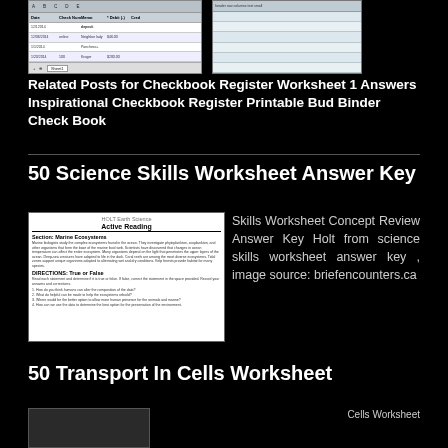[Figure (screenshot): Screenshot of a spreadsheet checkbook register with columns for Date, Check Num, Memo, Debit, and Credit. Rows include entries like deposit, neighbor lady $46.00, Pascheco+, Kroger $200.00. Has a Sheet tab at the bottom.]
[Figure (screenshot): Screenshot of a printed checkbook register template with horizontal lines and column headers, shown in a table grid format.]
Related Posts for Checkbook Register Worksheet 1 Answers Inspirational Checkbook Register Printable Bud Binder Check Book
50 Science Skills Worksheet Answer Key
[Figure (screenshot): Image of a science skills worksheet titled 'Active Reading' with section 'Science Mania: Ecosystems'. Contains dense body text, a subtitle section, and numbered questions at the bottom.]
Skills Worksheet Concept Review Answer Key Holt from science skills worksheet answer key , image source: briefencounters.ca
50 Transport In Cells Worksheet